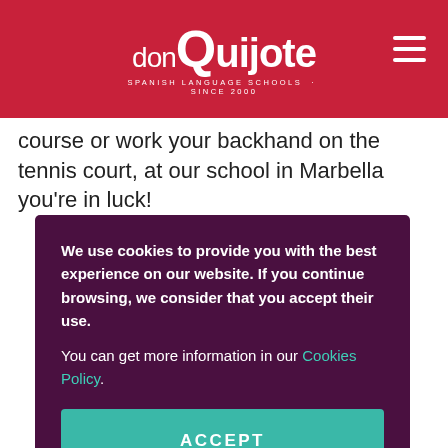don Quijote — Spanish Language Schools — since 2000
course or work your backhand on the tennis court, at our school in Marbella you're in luck!
ine a year, the e learning denced by s and facilities erienced sses are ur skills
We use cookies to provide you with the best experience on our website. If you continue browsing, we consider that you accept their use.
You can get more information in our Cookies Policy.
ACCEPT
we provide balls so you ur suitcase.